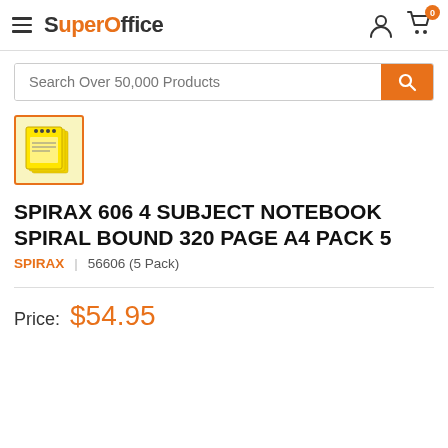SuperOffice
Search Over 50,000 Products
[Figure (photo): Product thumbnail showing yellow Spirax 606 4 Subject Spiral Bound Notebooks stacked, pack of 5]
SPIRAX 606 4 SUBJECT NOTEBOOK SPIRAL BOUND 320 PAGE A4 PACK 5
SPIRAX  |  56606 (5 Pack)
Price:  $54.95